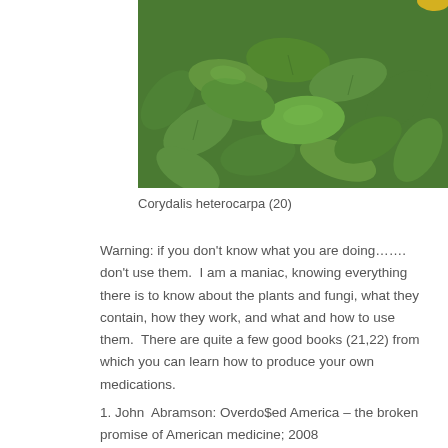[Figure (photo): Close-up photo of Corydalis heterocarpa plant showing green compound leaves and a yellow flower]
Corydalis heterocarpa (20)
Warning: if you don't know what you are doing……. don't use them.  I am a maniac, knowing everything there is to know about the plants and fungi, what they contain, how they work, and what and how to use them.  There are quite a few good books (21,22) from which you can learn how to produce your own medications.
1. John  Abramson: Overdo$ed America – the broken promise of American medicine; 2008